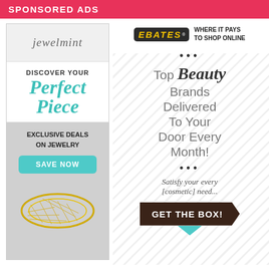SPONSORED ADS
[Figure (illustration): JewelMint advertisement: logo at top, 'DISCOVER YOUR Perfect Piece' in teal italic, 'EXCLUSIVE DEALS ON JEWELRY', 'SAVE NOW' button, gold ring image at bottom. Gray and white background.]
[Figure (illustration): Ebates advertisement with logo and tagline 'WHERE IT PAYS TO SHOP ONLINE', then on diagonal stripe background: '...', 'Top Beauty Brands Delivered To Your Door Every Month!', '...', 'Satisfy your every [cosmetic] need...', 'GET THE BOX!' button in dark brown with teal arrow.]